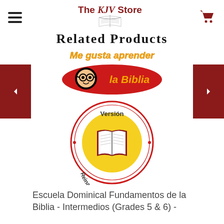[Figure (logo): The KJV Store logo with hamburger menu and cart icon in header]
Related Products
[Figure (logo): Me gusta aprender la Biblia logo - red oval with cartoon character wearing glasses and yellow/orange text]
[Figure (logo): Versión Reina-Valera 1960 circular badge with open Bible illustration]
Escuela Dominical Fundamentos de la Biblia - Intermedios (Grades 5 & 6) -